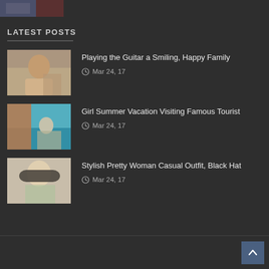[Figure (photo): Partial top strip showing a cropped photo thumbnail]
LATEST POSTS
Playing the Guitar a Smiling, Happy Family — Mar 24, 17
Girl Summer Vacation Visiting Famous Tourist — Mar 24, 17
Stylish Pretty Woman Casual Outfit, Black Hat — Mar 24, 17